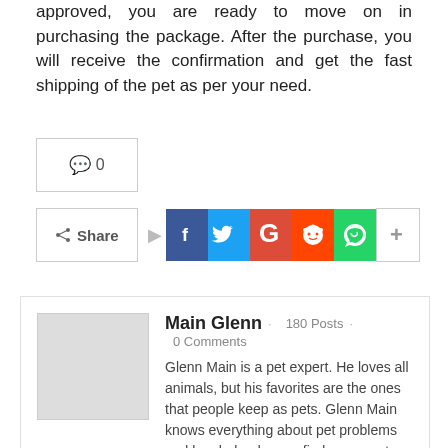approved, you are ready to move on in purchasing the package. After the purchase, you will receive the confirmation and get the fast shipping of the pet as per your need.
💬 0
< Share  f  🐦  G  👽  📱  +
Main Glenn · 180 Posts · 0 Comments
Glenn Main is a pet expert. He loves all animals, but his favorites are the ones that people keep as pets. Glenn Main knows everything about pet problems and has helped many find answers to their